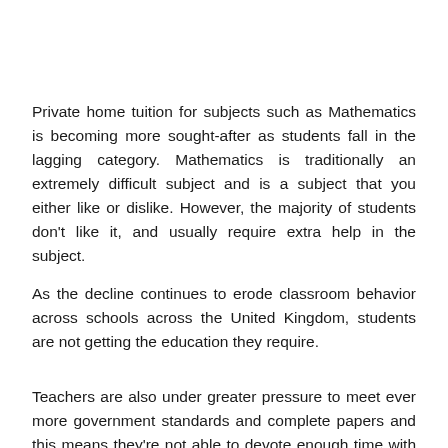Private home tuition for subjects such as Mathematics is becoming more sought-after as students fall in the lagging category. Mathematics is traditionally an extremely difficult subject and is a subject that you either like or dislike. However, the majority of students don't like it, and usually require extra help in the subject.
As the decline continues to erode classroom behavior across schools across the United Kingdom, students are not getting the education they require.
Teachers are also under greater pressure to meet ever more government standards and complete papers and this means they're not able to devote enough time with students in order